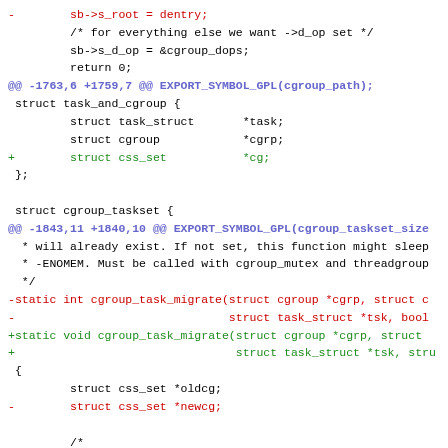[Figure (screenshot): A unified diff / patch view of C source code showing removed lines in red, added lines in green, context lines in black, and hunk headers in blue. The code relates to Linux kernel cgroup task migration functions.]